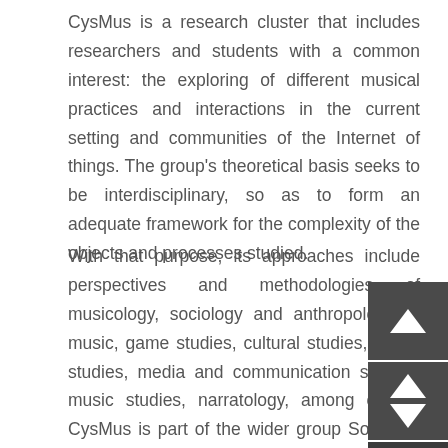CysMus is a research cluster that includes researchers and students with a common interest: the exploring of different musical practices and interactions in the current setting and communities of the Internet of things. The group's theoretical basis seeks to be interdisciplinary, so as to form an adequate framework for the complexity of the objects and processes studied.
With that purpose, its approaches include perspectives and methodologies of musicology, sociology and anthropology of music, game studies, cultural studies, digital studies, media and communication studies, music studies, narratology, among others. CysMus is part of the wider group SociMus, dedicated to research of a great variety of musical practices according to precepts and tools of music sociology.